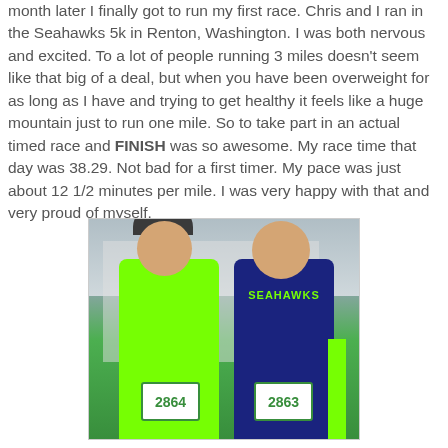month later I finally got to run my first race. Chris and I ran in the Seahawks 5k in Renton, Washington. I was both nervous and excited. To a lot of people running 3 miles doesn't seem like that big of a deal, but when you have been overweight for as long as I have and trying to get healthy it feels like a huge mountain just to run one mile. So to take part in an actual timed race and FINISH was so awesome. My race time that day was 38.29. Not bad for a first timer. My pace was just about 12 1/2 minutes per mile. I was very happy with that and very proud of myself.
[Figure (photo): Two people standing together wearing race bibs numbered 2864 and 2863. The person on the left wears a bright green long-sleeve shirt with bib 2864, a dark cap, and a race armband. The person on the right wears a Seahawks navy shirt with bright green long sleeves underneath and bib 2863. They are posing outdoors.]